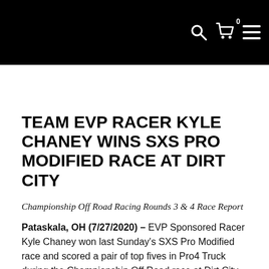Navigation bar with search, cart (0), and menu icons
TEAM EVP RACER KYLE CHANEY WINS SXS PRO MODIFIED RACE AT DIRT CITY
Championship Off Road Racing Rounds 3 & 4 Race Report
Pataskala, OH (7/27/2020) – EVP Sponsored Racer Kyle Chaney won last Sunday's SXS Pro Modified race and scored a pair of top fives in Pro4 Truck during the Championship Off Road race at Dirt City Raceway in Lena, WI. The event was rounds three and four of this year's